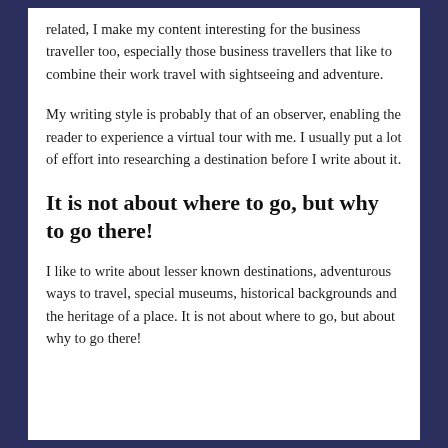related, I make my content interesting for the business traveller too, especially those business travellers that like to combine their work travel with sightseeing and adventure.
My writing style is probably that of an observer, enabling the reader to experience a virtual tour with me. I usually put a lot of effort into researching a destination before I write about it.
It is not about where to go, but why to go there!
I like to write about lesser known destinations, adventurous ways to travel, special museums, historical backgrounds and the heritage of a place. It is not about where to go, but about why to go there!